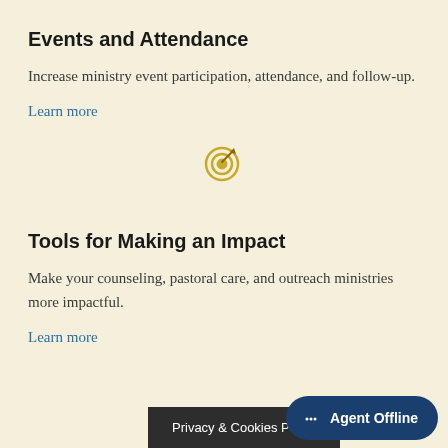Events and Attendance
Increase ministry event participation, attendance, and follow-up.
Learn more
[Figure (illustration): Target/bullseye icon with a golden arrow hitting the center, representing goal achievement or making an impact]
Tools for Making an Impact
Make your counseling, pastoral care, and outreach ministries more impactful.
Learn more
Privacy & Cookies Policy
Agent Offline